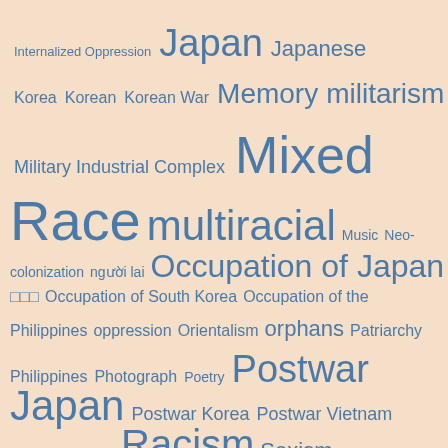[Figure (infographic): Word cloud on a peach/salmon background featuring academic topics related to race, occupation, militarism, and Asian studies. Words in various sizes rendered in steel blue color. Terms include: Internalized Oppression, Japan, Japanese, Korea, Korean, Korean War, Memory, militarism, Military Industrial Complex, Mixed, Race, multiracial, Music, Neo-colonization, người lai, Occupation of Japan, Occupation of South Korea, Occupation of the Philippines, oppression, Orientalism, orphans, Patriarchy, Philippines, Photograph, Poetry, Postwar Japan, Postwar Korea, Postwar Vietnam, prostitution, Quote, Racism, Sexism, sex work, Shōwa era, Social Justice, Southeast Asia]